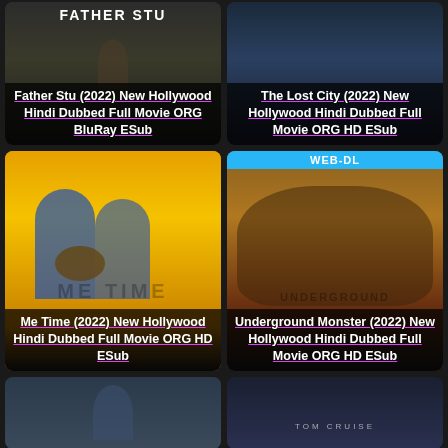[Figure (photo): Movie poster card for Father Stu (2022) - dark background with male figure]
[Figure (photo): Movie poster card for The Lost City (2022) - dark blue background]
[Figure (photo): Movie poster card for Me Time (2022) - yellow background with two men holding a tortoise]
[Figure (photo): Movie poster card for Underground Monster (2022) - orange/brown background with creature and child]
[Figure (photo): Movie poster card - bottom left, dark blue]
[Figure (photo): Movie poster card - bottom right, Tom Cruise film, dark background]